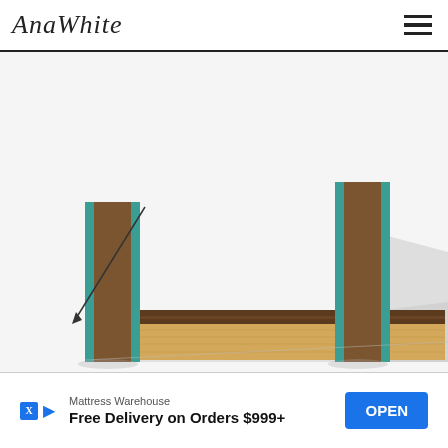AnaWhite
[Figure (illustration): 3D diagram of a furniture piece showing side trim installation — two vertical teal-edged panels with wood/MDF construction, connected by a horizontal bottom shelf with wood grain texture, viewed from front-below angle. A diagonal measurement arrow is visible on the left side.]
Side Trim. Using 2" nails and glue, fasten the side trim to the box. Outside edges are flush. You will need to also fasten to the bottom of the box and fasten through the top of the top trim into the top end edge of the side trim.
[Figure (screenshot): Advertisement banner: Mattress Warehouse — Free Delivery on Orders $999+ with an OPEN button in blue.]